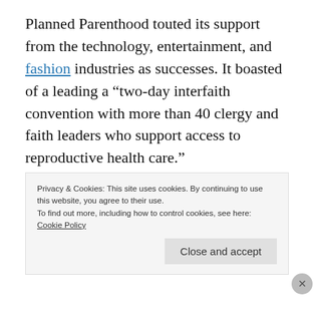Planned Parenthood touted its support from the technology, entertainment, and fashion industries as successes. It boasted of a leading a “two-day interfaith convention with more than 40 clergy and faith leaders who support access to reproductive health care.”
“Typical under Cecile Richards’ leadership of Planned Parenthood, the abortion giant once again cut their prenatal services to almost
Privacy & Cookies: This site uses cookies. By continuing to use this website, you agree to their use.
To find out more, including how to control cookies, see here:
Cookie Policy